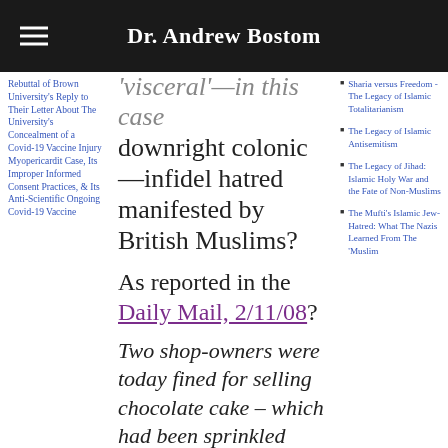Dr. Andrew Bostom
Rebuttal of Brown University's Reply to Their Letter About The University's Concealment of a Covid-19 Vaccine Injury Myopericarditis Case, Its Improper Informed Consent Practices, & Its Anti-Scientific Ongoing Covid-19 Vaccine
'visceral'—in this case downright colonic—infidel hatred manifested by British Muslims?
As reported in the Daily Mail, 2/11/08?
Two shop-owners were today fined for selling chocolate cake – which had been sprinkled with human
Sharia versus Freedom - The Legacy of Islamic Totalitarianism
The Legacy of Islamic Antisemitism
The Legacy of Jihad: Islamic Holy War and the Fate of Non-Muslims
The Mufti's Islamic Jew-Hatred: What The Nazis Learned From The 'Muslim